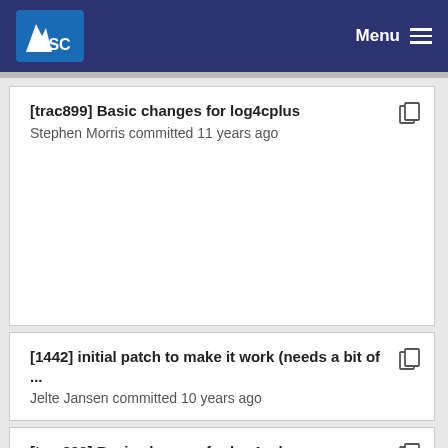ISC Menu
[trac899] Basic changes for log4cplus
Stephen Morris committed 11 years ago
[1442] initial patch to make it work (needs a bit of ...
Jelte Jansen committed 10 years ago
[trac899] Basic changes for log4cplus
Stephen Morris committed 11 years ago